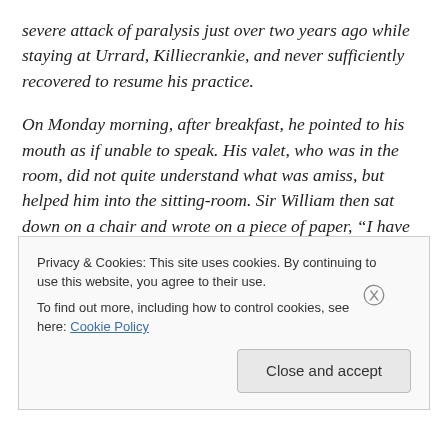severe attack of paralysis just over two years ago while staying at Urrard, Killiecrankie, and never sufficiently recovered to resume his practice.
On Monday morning, after breakfast, he pointed to his mouth as if unable to speak. His valet, who was in the room, did not quite understand what was amiss, but helped him into the sitting-room. Sir William then sat down on a chair and wrote on a piece of paper, “I have no speech.” The family were at once summoned, and Sir William was soon after removed to bed, where he received
Privacy & Cookies: This site uses cookies. By continuing to use this website, you agree to their use.
To find out more, including how to control cookies, see here: Cookie Policy